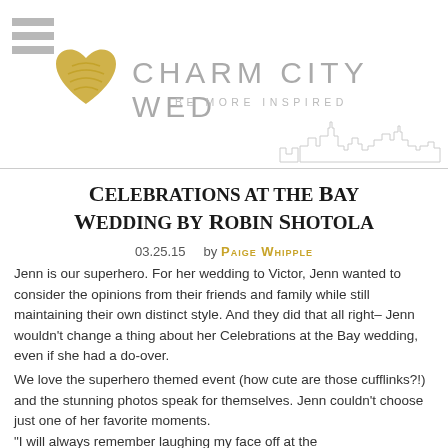[Figure (logo): Charm City Wed logo with gray hamburger menu icon, gold heart, gray text CHARM CITY WED and tagline BE MORE INSPIRED, with a faint city skyline illustration below]
Celebrations at the Bay Wedding by Robin Shotola
03.25.15    by Paige Whipple
Jenn is our superhero. For her wedding to Victor, Jenn wanted to consider the opinions from their friends and family while still maintaining their own distinct style. And they did that all right– Jenn wouldn't change a thing about her Celebrations at the Bay wedding, even if she had a do-over.
We love the superhero themed event (how cute are those cufflinks?!) and the stunning photos speak for themselves. Jenn couldn't choose just one of her favorite moments.
"I will always remember laughing my face off at the